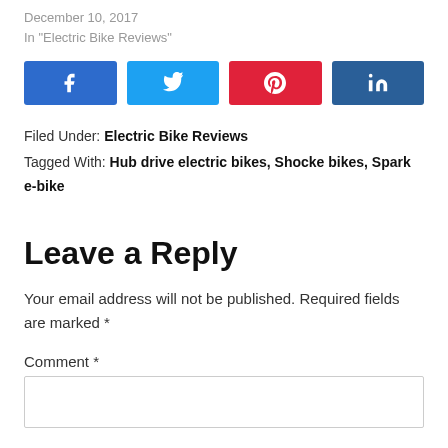December 10, 2017
In "Electric Bike Reviews"
[Figure (infographic): Social media share buttons: Facebook (blue), Twitter (light blue), Pinterest (red), LinkedIn (dark blue)]
Filed Under: Electric Bike Reviews
Tagged With: Hub drive electric bikes, Shocke bikes, Spark e-bike
Leave a Reply
Your email address will not be published. Required fields are marked *
Comment *